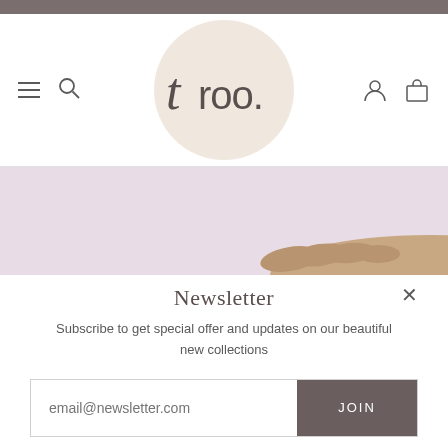[Figure (logo): Troo brand logo — 'troo.' text in a soft peach/beige circle]
[Figure (photo): A partial banner image showing a hand/arm against a pale lavender-pink background]
Newsletter
Subscribe to get special offer and updates on our beautiful new collections
email@newsletter.com
JOIN